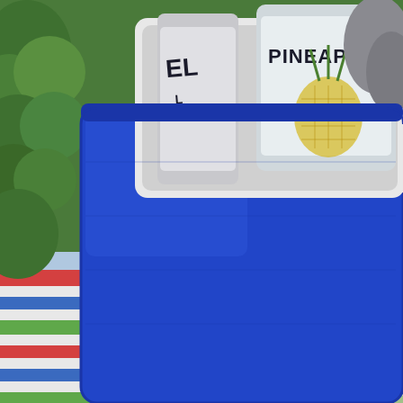[Figure (photo): Close-up photograph of a blue plastic cooler with its lid open, showing a pineapple-flavored canned beverage (label reads 'ELL...' and 'PINEAPPLE') inside. The cooler is sitting outdoors on a colorful striped surface (red, white, blue, green), with green foliage visible in the background on the left side.]